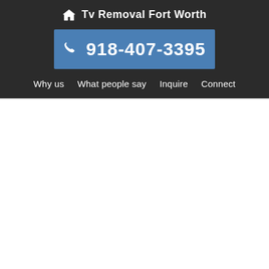Tv Removal Fort Worth
918-407-3395
Why us
What people say
Inquire
Connect